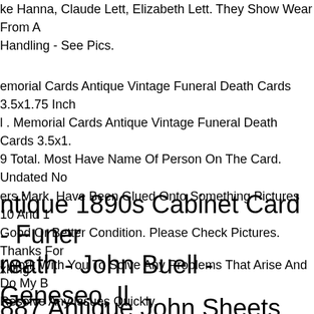(…), (…), (…). ike Hanna, Claude Lett, Elizabeth Lett. They Show Wear From A Handling - See Pics.
emorial Cards Antique Vintage Funeral Death Cards 3.5x1.75 Inch l . Memorial Cards Antique Vintage Funeral Death Cards 3.5x1. 9 Total. Most Have Name Of Person On The Card. Undated No ers Mark. Have Been Glued Onto Something Pictures 10 And 1 Good Or Better Condition. Please Check Pictures. Thanks For xking
ntique 1890s Cabinet Card - Funer reath - John Buell - Geneseo, Il
l Work With You To Solve Any Problems That Arise And Do My B Resolve Any Issues Quickly.
887 Antique John Sheets Funeral